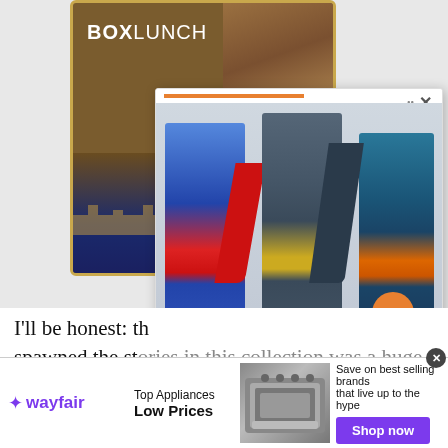[Figure (screenshot): BoxLunch brand advertisement with a man wearing a gold checkered jacket against a brown background with ornate gold border frame and Harry Potter branding at the bottom]
[Figure (screenshot): DC Comics action figures popup showing Superman, Batman, and Darkseid figures on a light gray background with an orange progress bar at top, a close X button, and an orange arrow navigation button]
I'll be honest: th
spawned the stories in this collection was a huge
[Figure (screenshot): Wayfair advertisement banner showing the Wayfair logo in purple, 'Top Appliances Low Prices' text, a stove/range appliance image, and 'Save on best selling brands that live up to the hype' with a purple 'Shop now' button]